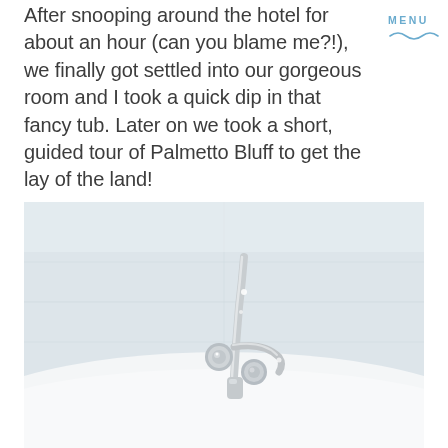After snooping around the hotel for about an hour (can you blame me?!), we finally got settled into our gorgeous room and I took a quick dip in that fancy tub. Later on we took a short, guided tour of Palmetto Bluff to get the lay of the land!
[Figure (photo): Close-up photograph of ornate chrome/silver bathtub faucet fixtures against a white tiled wall, with the white porcelain tub rim visible in the foreground. The image is bright and airy with soft focus.]